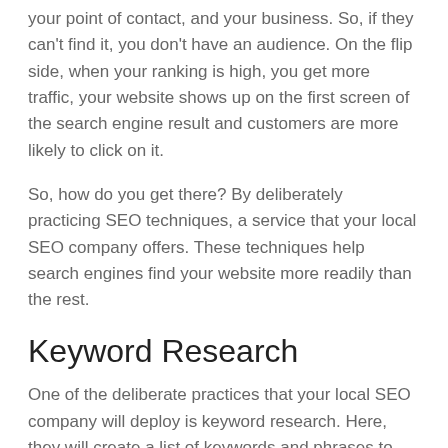your point of contact, and your business. So, if they can't find it, you don't have an audience. On the flip side, when your ranking is high, you get more traffic, your website shows up on the first screen of the search engine result and customers are more likely to click on it.
So, how do you get there? By deliberately practicing SEO techniques, a service that your local SEO company offers. These techniques help search engines find your website more readily than the rest.
Keyword Research
One of the deliberate practices that your local SEO company will deploy is keyword research. Here, they will create a list of keywords and phrases to optimize the page